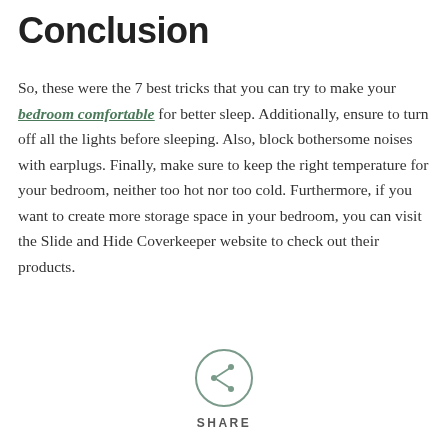Conclusion
So, these were the 7 best tricks that you can try to make your bedroom comfortable for better sleep. Additionally, ensure to turn off all the lights before sleeping. Also, block bothersome noises with earplugs. Finally, make sure to keep the right temperature for your bedroom, neither too hot nor too cold. Furthermore, if you want to create more storage space in your bedroom, you can visit the Slide and Hide Coverkeeper website to check out their products.
[Figure (other): A circular share button icon with a share/fork symbol inside, and the word SHARE below it]